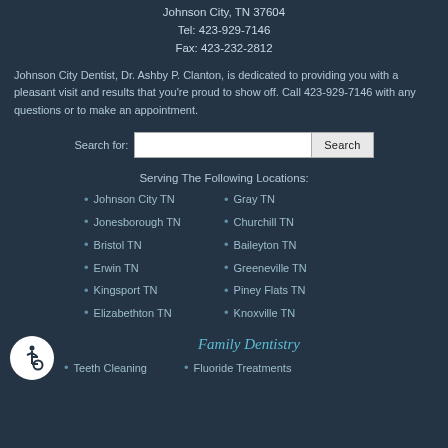Johnson City, TN 37604
Tel: 423-929-7146
Fax: 423-232-2812
Johnson City Dentist, Dr. Ashby P. Clanton, is dedicated to providing you with a pleasant visit and results that you're proud to show off. Call 423-929-7146 with any questions or to make an appointment.
Search for: [input] Search
Serving The Following Locations:
Johnson City TN
Jonesborough TN
Bristol TN
Erwin TN
Kingsport TN
Elizabethton TN
Gray TN
Churchill TN
Baileyton TN
Greeneville TN
Piney Flats TN
Knoxville TN
[Figure (illustration): Wheelchair accessibility icon — white symbol on white circle]
Family Dentistry
Teeth Cleaning
Fluoride Treatments